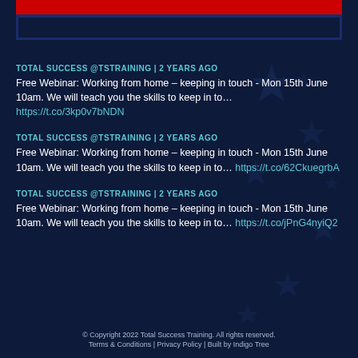[Figure (illustration): Red banner with dark blue border at top of page]
TOTAL SUCCESS @TSTRAINING | 2 YEARS AGO
Free Webinar: Working from home – keeping in touch - Mon 15th June 10am. We will teach you the skills to keep in to… https://t.co/3kp0v7bNDN
TOTAL SUCCESS @TSTRAINING | 2 YEARS AGO
Free Webinar: Working from home – keeping in touch - Mon 15th June 10am. We will teach you the skills to keep in to… https://t.co/62CkuegrbA
TOTAL SUCCESS @TSTRAINING | 2 YEARS AGO
Free Webinar: Working from home – keeping in touch - Mon 15th June 10am. We will teach you the skills to keep in to… https://t.co/jPnG4nyiQ2
© Copyright 2022 Total Success Training. All rights reserved.
Terms & Conditions  |  Privacy Policy  |   Built by Indigo Tree